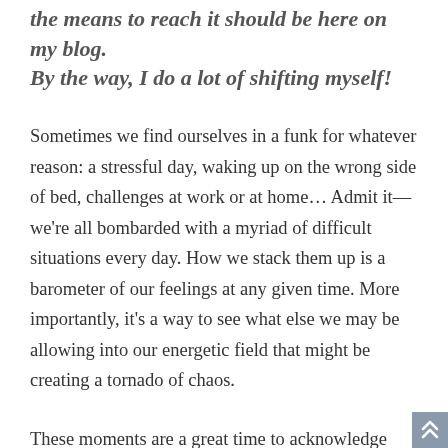the means to reach it should be here on my blog. By the way, I do a lot of shifting myself!
Sometimes we find ourselves in a funk for whatever reason: a stressful day, waking up on the wrong side of bed, challenges at work or at home... Admit it—we're all bombarded with a myriad of difficult situations every day. How we stack them up is a barometer of our feelings at any given time. More importantly, it's a way to see what else we may be allowing into our energetic field that might be creating a tornado of chaos.
These moments are a great time to acknowledge